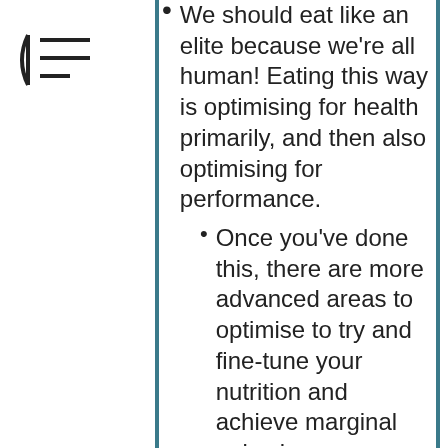We should eat like an elite because we're all human! Eating this way is optimising for health primarily, and then also optimising for performance.
Once you've done this, there are more advanced areas to optimise to try and fine-tune your nutrition and achieve marginal gains in performance (e.g. nutrition periodisation and train low strategies).